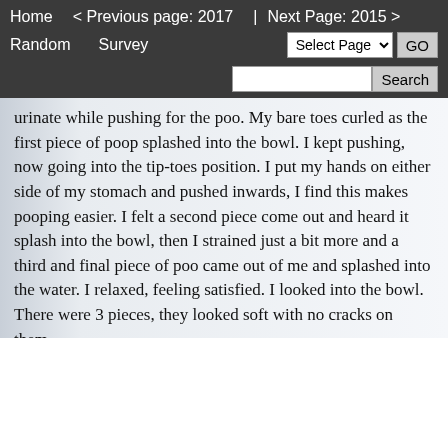Home   < Previous page: 2017   |   Next Page: 2015 >
Random   Survey   [Select Page] GO
[Search box] Search
urinate while pushing for the poo. My bare toes curled as the first piece of poop splashed into the bowl. I kept pushing, now going into the tip-toes position. I put my hands on either side of my stomach and pushed inwards, I find this makes pooping easier. I felt a second piece come out and heard it splash into the bowl, then I strained just a bit more and a third and final piece of poo came out of me and splashed into the water. I relaxed, feeling satisfied. I looked into the bowl. There were 3 pieces, they looked soft with no cracks on them.
Tuesday, April 12, 2011
june
I always wondered how people could have a home accident- I mean your bathrooms are there for your